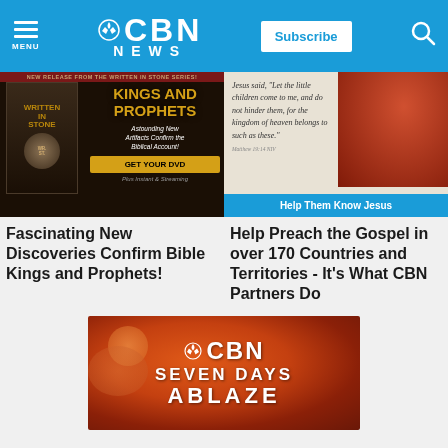CBN NEWS — Subscribe
[Figure (photo): Kings and Prophets DVD advertisement — Written in Stone series. Text: NEW RELEASE FROM THE WRITTEN IN STONE SERIES! KINGS AND PROPHETS. Astounding New Artifacts Confirm the Biblical Account! GET YOUR DVD. Plus Instant & Streaming.]
[Figure (photo): Child missionary ad. Jesus said, 'Let the little children come to me, and do not hinder them, for the kingdom of heaven belongs to such as these.' Matthew 19:14 NIV. Help Them Know Jesus.]
Fascinating New Discoveries Confirm Bible Kings and Prophets!
Help Preach the Gospel in over 170 Countries and Territories - It's What CBN Partners Do
[Figure (photo): CBN Seven Days Ablaze promotional graphic with orange/red gradient background and white text logo.]